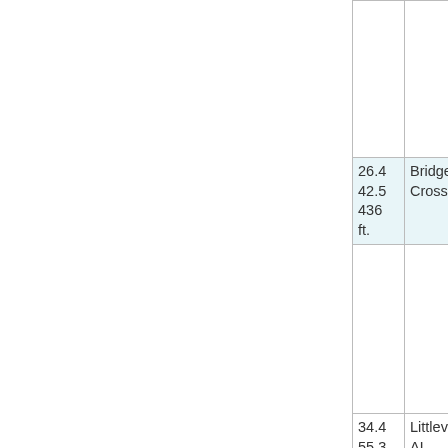| Miles/Km/Elev | Description |
| --- | --- |
| 26.4
42.5
436 ft. | Bridge Crossing |
| 34.4
55.3
696 ft. | Littleville, AL |
| 35.2
56.7
622 | Bridge Crossing |